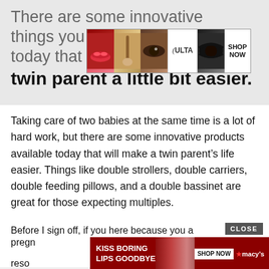There are some innovative things you can get today that can make life as a twin parent a little bit easier.
[Figure (advertisement): Ulta Beauty banner ad with makeup images and SHOP NOW button]
Taking care of two babies at the same time is a lot of hard work, but there are some innovative products available today that will make a twin parent's life easier. Things like double strollers, double carriers, double feeding pillows, and a double bassinet are great for those expecting multiples.
Before I sign off, if you here because you a
pregn
[Figure (advertisement): Macy's lip product ad: KISS BORING LIPS GOODBYE with SHOP NOW button and Macy's star logo]
her
reso